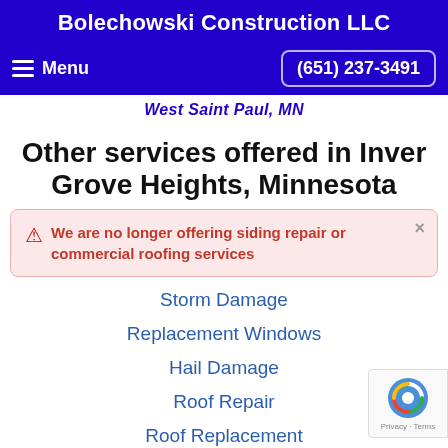Bolechowski Construction LLC
Menu   (651) 237-3491
West Saint Paul, MN
Other services offered in Inver Grove Heights, Minnesota
We are no longer offering siding repair or commercial roofing services
Storm Damage
Replacement Windows
Hail Damage
Roof Repair
Roof Replacement
Ice Dam Removal